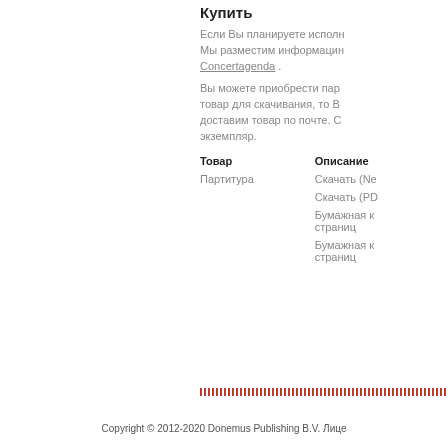Купить
Если Вы планируете исполн Мы разместим информацин Concertagenda .
Вы можете приобрести пар товар для скачивания, то В доставим товар по почте. С экземпляр.
| Товар | Описание |
| --- | --- |
| Партитура | Скачать (Ne |
|  | Скачать (PD |
|  | Бумажная к страниц |
|  | Бумажная к страниц |
Copyright © 2012-2020 Donemus Publishing B.V. Лице